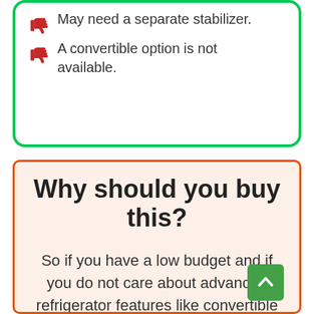May need a separate stabilizer.
A convertible option is not available.
Why should you buy this?
So if you have a low budget and if you do not care about advanced refrigerator features like convertible